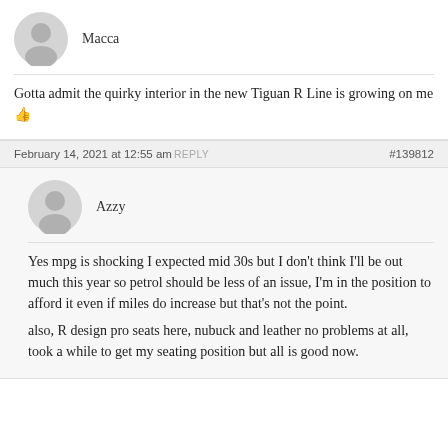Macca
Gotta admit the quirky interior in the new Tiguan R Line is growing on me 👍
February 14, 2021 at 12:55 am REPLY #139812
Azzy
Yes mpg is shocking I expected mid 30s but I don't think I'll be out much this year so petrol should be less of an issue, I'm in the position to afford it even if miles do increase but that's not the point.

also, R design pro seats here, nubuck and leather no problems at all, took a while to get my seating position but all is good now.